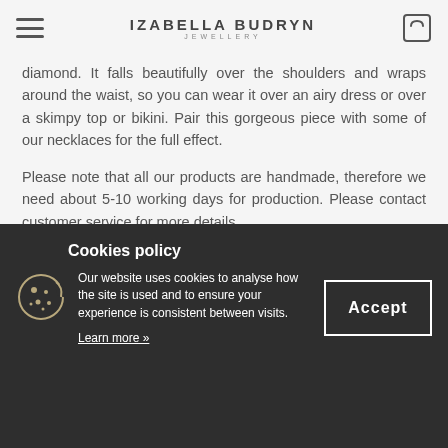IZABELLA BUDRYN JEWELLERY
diamond. It falls beautifully over the shoulders and wraps around the waist, so you can wear it over an airy dress or over a skimpy top or bikini. Pair this gorgeous piece with some of our necklaces for the full effect.
Please note that all our products are handmade, therefore we need about 5-10 working days for production. Please contact customer service for more details.
Cookies policy
Our website uses cookies to analyse how the site is used and to ensure your experience is consistent between visits.
Learn more »